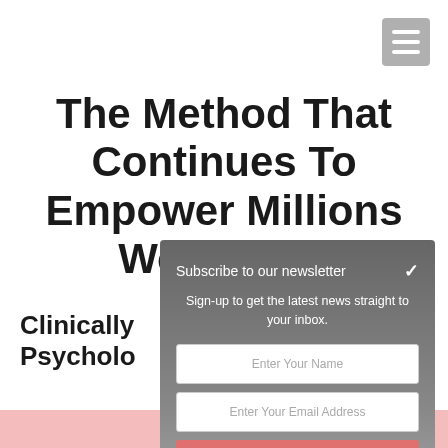[Figure (other): Hamburger menu button (three horizontal lines) in top-right corner]
The Method That Continues To Empower Millions Worldwide
Clinically Psycholo
[Figure (infographic): Newsletter subscription modal overlay with fields for name and email and a SUBSCRIBE! button]
Subscribe to our newsletter
Sign-up to get the latest news straight to your inbox.
Enter Your Name
Enter Your Email Address
SUBSCRIBE!
Give it a try, you can unsubscribe anytime